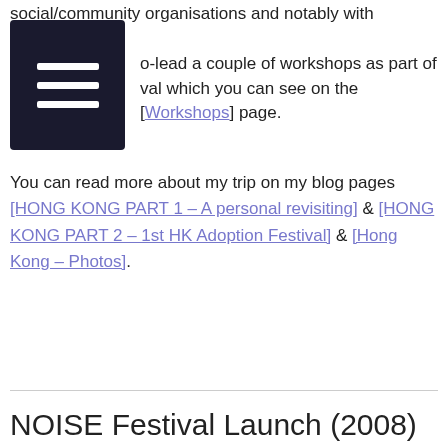social/community organisations and notably with pregnant te…-lead a couple of workshops as part of …val which you can see on the [Workshops] page.
You can read more about my trip on my blog pages [HONG KONG PART 1 – A personal revisiting] & [HONG KONG PART 2 – 1st HK Adoption Festival] & [Hong Kong – Photos].
NOISE Festival Launch (2008)